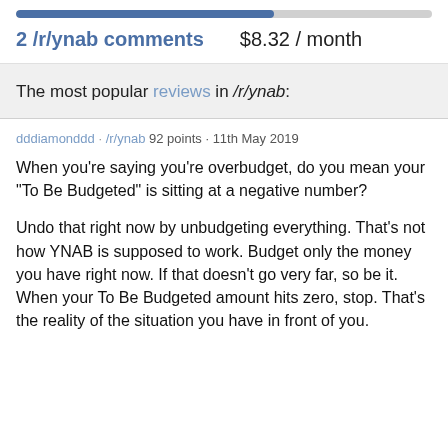[Figure (other): Progress bar, approximately 62% filled in blue]
2 /r/ynab comments   $8.32 / month
The most popular reviews in /r/ynab:
dddiamonddd · /r/ynab  92 points · 11th May 2019
When you're saying you're overbudget, do you mean your "To Be Budgeted" is sitting at a negative number?

Undo that right now by unbudgeting everything. That's not how YNAB is supposed to work. Budget only the money you have right now. If that doesn't go very far, so be it. When your To Be Budgeted amount hits zero, stop. That's the reality of the situation you have in front of you.